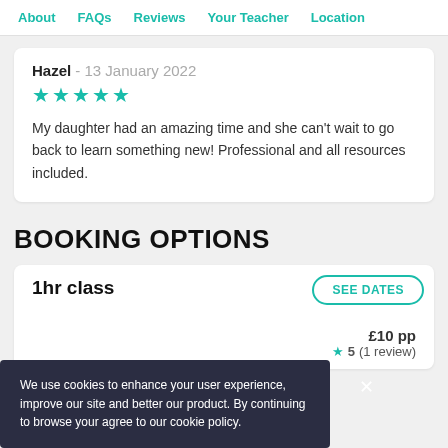About   FAQs   Reviews   Your Teacher   Location
Hazel - 13 January 2022
★★★★★
My daughter had an amazing time and she can't wait to go back to learn something new! Professional and all resources included.
BOOKING OPTIONS
1hr class
SEE DATES
£10 pp
5 (1 review)
We use cookies to enhance your user experience, improve our site and better our product. By continuing to browse your agree to our cookie policy.